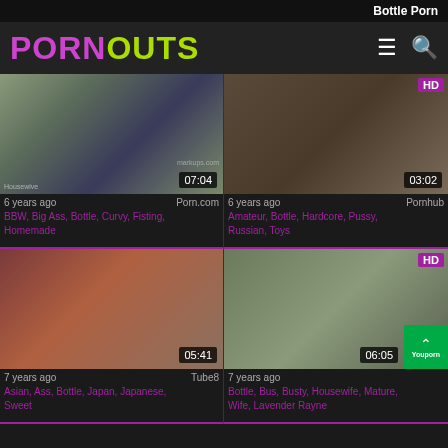Bottle Porn
PORNOUTS
[Figure (screenshot): Video thumbnail 1 - BBW video, duration 07:04, source Porn.com]
6 years ago
Porn.com
BBW, Big Ass, Bottle, Curvy, Fisting, Homemade
[Figure (screenshot): Video thumbnail 2 - Amateur Bottle video HD, duration 03:02, source Pornhub]
6 years ago
Pornhub
Amateur, Bottle, Hardcore, Pussy, Russian, Toys
[Figure (screenshot): Video thumbnail 3 - Asian Bottle video, duration 05:41, source Tube8]
7 years ago
Tube8
Asian, Ass, Bottle, Japan, Japanese, Sweet
[Figure (screenshot): Video thumbnail 4 - Bottle Bus Busty HD video, duration 06:05, source Youporn]
7 years ago
Bottle, Bus, Busty, Housewife, Mature, Wife, Lavender Rayne